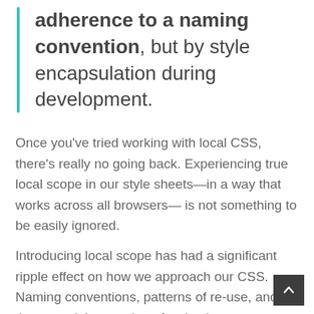adherence to a naming convention, but by style encapsulation during development.
Once you've tried working with local CSS, there's really no going back. Experiencing true local scope in our style sheets—in a way that works across all browsers— is not something to be easily ignored.
Introducing local scope has had a significant ripple effect on how we approach our CSS. Naming conventions, patterns of re-use, and the potential extraction of styles into separate packages are all directly affected by this shift, and we're only at the beginning of